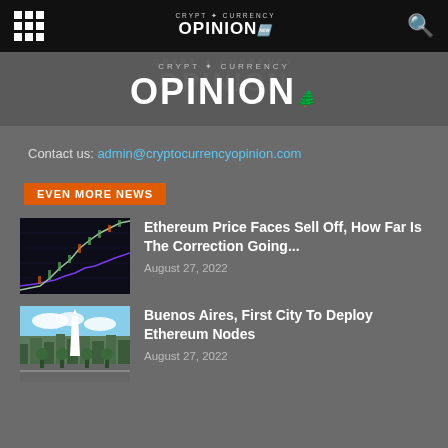CRYPT O CURRENCY OPINION
[Figure (logo): Cryptocurrency Opinion logo with large OPINION text and decorative script]
Contact us: admin@cryptocurrencyopinion.com
EVEN MORE NEWS
[Figure (photo): Cryptocurrency price chart showing upward trend lines on dark background]
Ethereum Price Faces Sell Off, How Far Is The Correction Going...
August 27, 2022
[Figure (photo): Aerial view of Buenos Aires city with tall white obelisk monument]
Buenos Aires, First City To Deploy Ethereum Nodes
August 27, 2022